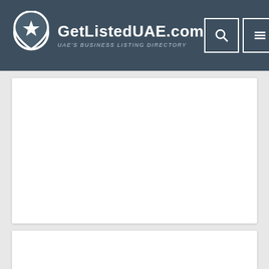GetListedUAE.com — UAE's BUSINESS LISTING DIRECTORY
[Figure (screenshot): Large white content card with empty/blank area — likely an advertisement or listing placeholder]
[Figure (logo): HEETS IQOS logo with spider/insect icon on a white card]